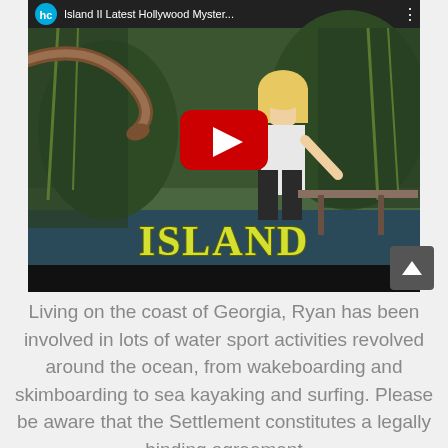[Figure (screenshot): YouTube video thumbnail for 'Island II Latest Hollywood Myster...' showing a woman in a swamp with a snake, 'ISLAND' text in yellow-green, and a red YouTube play button overlay]
Living on the coast of Georgia, Ryan has been involved in lots of water sport activities revolved around the ocean, from wakeboarding and skimboarding to sea kayaking and surfing. Please be aware that the Settlement constitutes a legally binding agreement